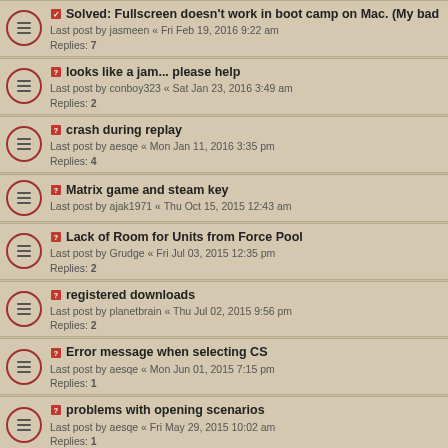Solved: Fullscreen doesn't work in boot camp on Mac. (My bad) — Last post by jasmeen « Fri Feb 19, 2016 9:22 am — Replies: 7
looks like a jam... please help — Last post by conboy323 « Sat Jan 23, 2016 3:49 am — Replies: 2
crash during replay — Last post by aesqe « Mon Jan 11, 2016 3:35 pm — Replies: 4
Matrix game and steam key — Last post by ajak1971 « Thu Oct 15, 2015 12:43 am
Lack of Room for Units from Force Pool — Last post by Grudge « Fri Jul 03, 2015 12:35 pm — Replies: 2
registered downloads — Last post by planetbrain « Thu Jul 02, 2015 9:56 pm — Replies: 2
Error message when selecting CS — Last post by aesqe « Mon Jun 01, 2015 7:15 pm — Replies: 1
problems with opening scenarios — Last post by aesqe « Fri May 29, 2015 10:02 am — Replies: 1
Game crash on start. [STEAM][WIN7] — Last post by Tomislav Uzelac « Mon Apr 13, 2015 7:07 am — Replies: 1
Won't Start On Linux — Last post by BTRE « Sat Mar 21, 2015 4:39 am — Replies: 12